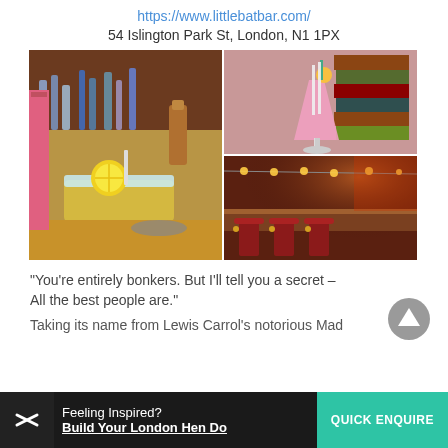https://www.littlebatbar.com/
54 Islington Park St, London, N1 1PX
[Figure (photo): Photo collage of Little Bat Bar: left panel shows a cocktail in a mug with lemon and crushed ice amid bar bottles; top-right shows a pink cocktail with garnish next to a stack of books; bottom-right shows a warm moody bar interior.]
“You’re entirely bonkers. But I’ll tell you a secret – All the best people are.”
Taking its name from Lewis Carrol’s notorious Mad
Feeling Inspired? Build Your London Hen Do | QUICK ENQUIRE